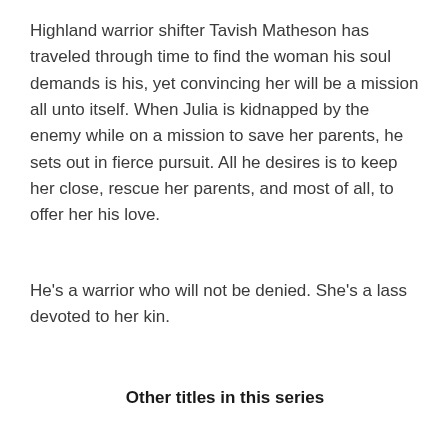Highland warrior shifter Tavish Matheson has traveled through time to find the woman his soul demands is his, yet convincing her will be a mission all unto itself. When Julia is kidnapped by the enemy while on a mission to save her parents, he sets out in fierce pursuit. All he desires is to keep her close, rescue her parents, and most of all, to offer her his love.
He's a warrior who will not be denied. She's a lass devoted to her kin.
Other titles in this series